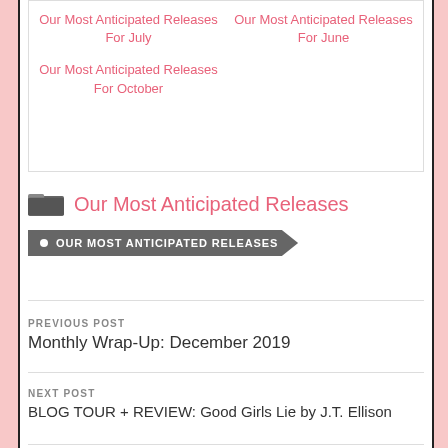Our Most Anticipated Releases For July
Our Most Anticipated Releases For June
Our Most Anticipated Releases For October
Our Most Anticipated Releases
OUR MOST ANTICIPATED RELEASES
PREVIOUS POST
Monthly Wrap-Up: December 2019
NEXT POST
BLOG TOUR + REVIEW: Good Girls Lie by J.T. Ellison